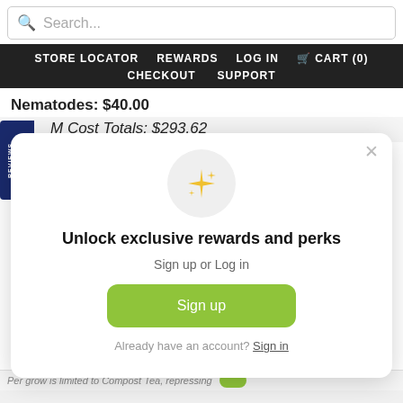Search...
STORE LOCATOR   REWARDS   LOG IN   CART (0)   CHECKOUT   SUPPORT
Nematodes: $40.00
M Cost Totals: $293.62
[Figure (screenshot): Rewards sign-up modal popup with sparkle icon, title 'Unlock exclusive rewards and perks', subtitle 'Sign up or Log in', a green Sign up button, and 'Already have an account? Sign in' link]
Already have an account? Sign in
Per grow is limited to Compost Tea, repressing